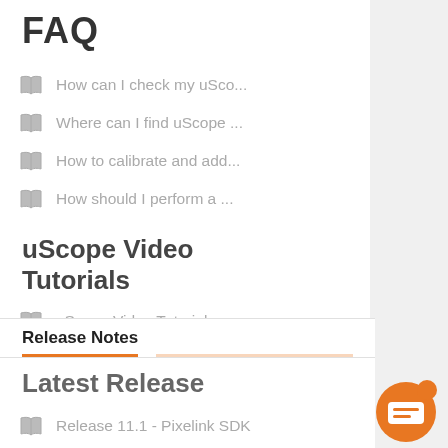FAQ
How can I check my uSco...
Where can I find uScope ...
How to calibrate and add...
How should I perform a ...
uScope Video Tutorials
uScope Video Tutorials
Release Notes
Latest Release
Release 11.1 - Pixelink SDK
Linux SDK - Release Not...